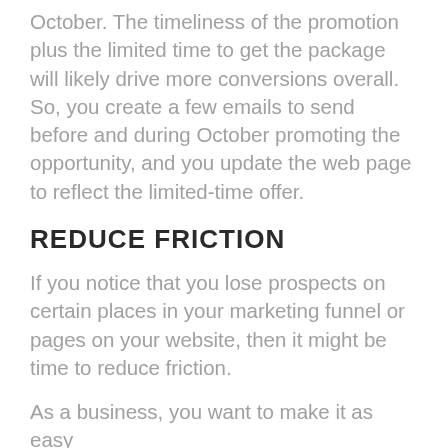October. The timeliness of the promotion plus the limited time to get the package will likely drive more conversions overall. So, you create a few emails to send before and during October promoting the opportunity, and you update the web page to reflect the limited-time offer.
REDUCE FRICTION
If you notice that you lose prospects on certain places in your marketing funnel or pages on your website, then it might be time to reduce friction.
As a business, you want to make it as easy